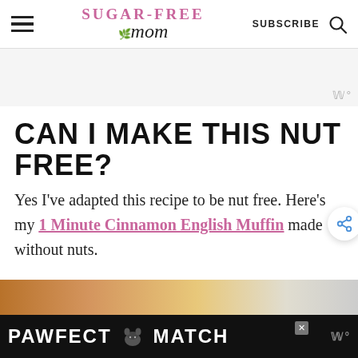Sugar-Free Mom — SUBSCRIBE
[Figure (other): Advertisement banner area, light grey background with Wunderkind watermark]
CAN I MAKE THIS NUT FREE?
Yes I've adapted this recipe to be nut free. Here's my 1 Minute Cinnamon English Muffin made without nuts.
[Figure (photo): Partial bottom strip showing a food photo and a PAWFECT MATCH advertisement on a dark background]
PAWFECT MATCH advertisement banner